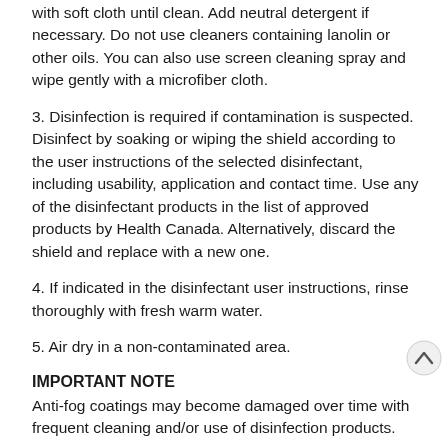with soft cloth until clean. Add neutral detergent if necessary. Do not use cleaners containing lanolin or other oils. You can also use screen cleaning spray and wipe gently with a microfiber cloth.
3. Disinfection is required if contamination is suspected. Disinfect by soaking or wiping the shield according to the user instructions of the selected disinfectant, including usability, application and contact time. Use any of the disinfectant products in the list of approved products by Health Canada. Alternatively, discard the shield and replace with a new one.
4. If indicated in the disinfectant user instructions, rinse thoroughly with fresh warm water.
5. Air dry in a non-contaminated area.
IMPORTANT NOTE
Anti-fog coatings may become damaged over time with frequent cleaning and/or use of disinfection products.